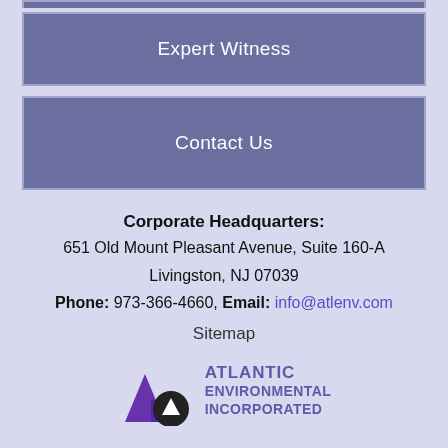[Figure (screenshot): Navigation button with text 'Expert Witness' on purple/slate background]
[Figure (screenshot): Navigation button with text 'Contact Us' on purple/slate background]
Corporate Headquarters:
651 Old Mount Pleasant Avenue, Suite 160-A
Livingston, NJ 07039
Phone: 973-366-4660, Email: info@atlenv.com
Sitemap
[Figure (logo): Atlantic Environmental Incorporated logo with purple triangle shapes and company name text]